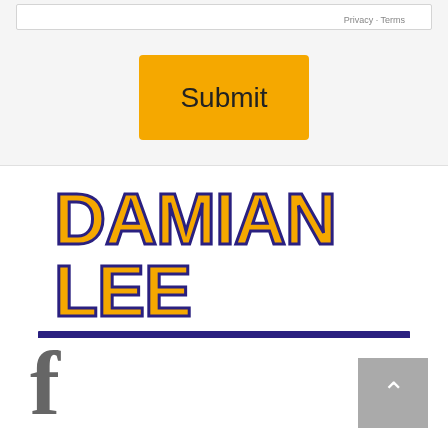Privacy · Terms
Submit
[Figure (logo): Damian Lee Building Ltd logo with yellow bold text 'DAMIAN LEE' with dark blue outline, dark blue banner with white text 'BUILDING LTD', and cursive tagline 'Trust us From Design to Completion']
[Figure (logo): Facebook 'f' icon in grey]
[Figure (other): Back to top button with upward chevron arrow on grey background]